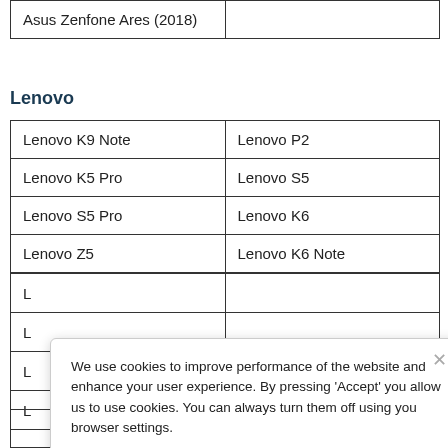| Asus Zenfone Ares (2018) |  |
Lenovo
| Lenovo K9 Note | Lenovo P2 |
| Lenovo K5 Pro | Lenovo S5 |
| Lenovo S5 Pro | Lenovo K6 |
| Lenovo Z5 | Lenovo K6 Note |
| L… |  |
| L… |  |
| L… |  |
| L… |  |
[Figure (screenshot): Cookie consent popup overlay with text: 'We use cookies to improve performance of the website and enhance your user experience. By pressing Accept you allow us to use cookies. You can always turn them off using you browser settings.' with an Accept button and a close X button.]
|  |  |